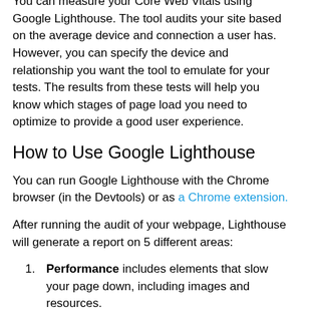You can measure your Core Web Vitals using Google Lighthouse. The tool audits your site based on the average device and connection a user has. However, you can specify the device and relationship you want the tool to emulate for your tests. The results from these tests will help you know which stages of page load you need to optimize to provide a good user experience.
How to Use Google Lighthouse
You can run Google Lighthouse with the Chrome browser (in the Devtools) or as a Chrome extension.
After running the audit of your webpage, Lighthouse will generate a report on 5 different areas:
Performance includes elements that slow your page down, including images and resources.
Accessibility audits how accessible your content is to users, including the use of assistive technology.
Best Practices identifies any web development